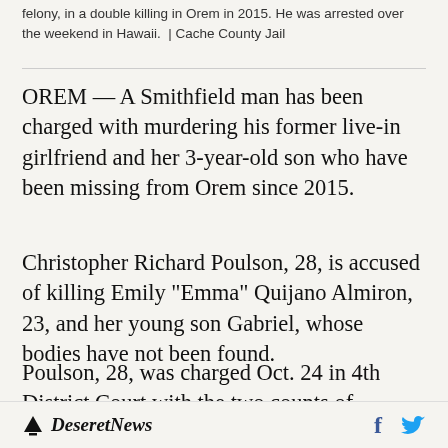felony, in a double killing in Orem in 2015. He was arrested over the weekend in Hawaii.  |  Cache County Jail
OREM — A Smithfield man has been charged with murdering his former live-in girlfriend and her 3-year-old son who have been missing from Orem since 2015.
Christopher Richard Poulson, 28, is accused of killing Emily "Emma" Quijano Almiron, 23, and her young son Gabriel, whose bodies have not been found.
Poulson, 28, was charged Oct. 24 in 4th District Court with the two counts of aggravated murder,
Deseret News  f  [twitter]